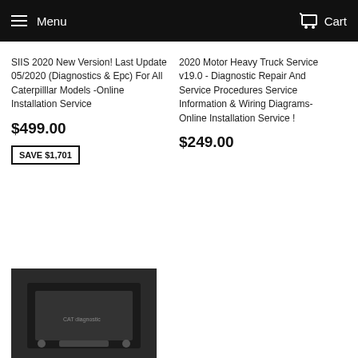Menu   Cart
SIIS 2020 New Version! Last Update 05/2020 (Diagnostics & Epc) For All Caterpilllar Models -Online Installation Service
$499.00
SAVE $1,701
2020 Motor Heavy Truck Service v19.0 - Diagnostic Repair And Service Procedures Service Information & Wiring Diagrams- Online Installation Service !
$249.00
[Figure (photo): Dark photograph of a diagnostic device/tool against a black background, partial view]